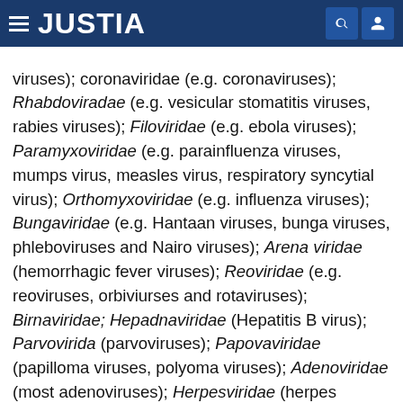JUSTIA
viruses); Coronaviridae (e.g. coronaviruses); Rhabdoviradae (e.g. vesicular stomatitis viruses, rabies viruses); Filoviridae (e.g. ebola viruses); Paramyxoviridae (e.g. parainfluenza viruses, mumps virus, measles virus, respiratory syncytial virus); Orthomyxoviridae (e.g. influenza viruses); Bungaviridae (e.g. Hantaan viruses, bunga viruses, phleboviruses and Nairo viruses); Arena viridae (hemorrhagic fever viruses); Reoviridae (e.g. reoviruses, orbiviurses and rotaviruses); Birnaviridae; Hepadnaviridae (Hepatitis B virus); Parvovirida (parvoviruses); Papovaviridae (papilloma viruses, polyoma viruses); Adenoviridae (most adenoviruses); Herpesviridae (herpes simplex virus (HSV) 1 and 2, varicella zoster virus, cytomegalovirus (CMV), herpes virus; Poxviridae (variola viruses, vaccinia viruses, pox viruses); and Iridoviridae (e.g. African swine fever virus); and unclassified viruses (e.g. the agent of delta hepatitis